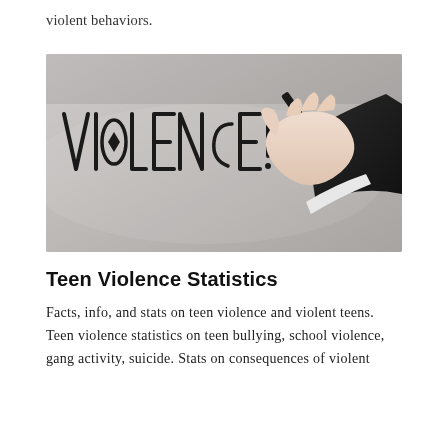violent behaviors.
[Figure (photo): A hand in a dark suit sleeve holding a black marker/pen, writing the word 'VIOLENCE!' in large handwritten letters on a light grey surface.]
Teen Violence Statistics
Facts, info, and stats on teen violence and violent teens. Teen violence statistics on teen bullying, school violence, gang activity, suicide. Stats on consequences of violent